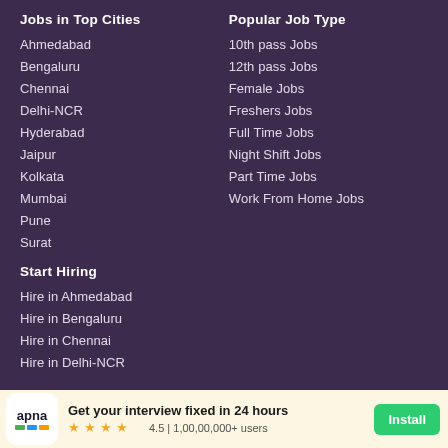Jobs in Top Cities
Ahmedabad
Bengaluru
Chennai
Delhi-NCR
Hyderabad
Jaipur
Kolkata
Mumbai
Pune
Surat
Start Hiring
Hire in Ahmedabad
Hire in Bengaluru
Hire in Chennai
Hire in Delhi-NCR
Popular Job Type
10th pass Jobs
12th pass Jobs
Female Jobs
Freshers Jobs
Full Time Jobs
Night Shift Jobs
Part Time Jobs
Work From Home Jobs
Get your interview fixed in 24 hours
4.5 | 1,00,00,000+ users